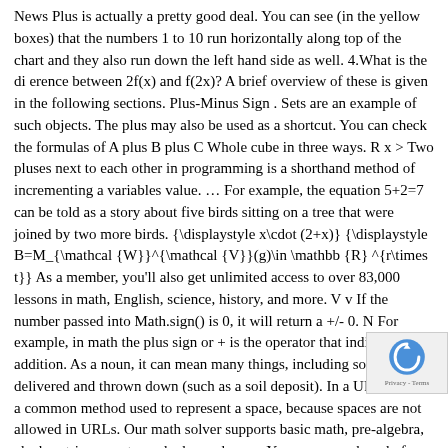News Plus is actually a pretty good deal. You can see (in the yellow boxes) that the numbers 1 to 10 run horizontally along top of the chart and they also run down the left hand side as well. 4.What is the di erence between 2f(x) and f(2x)? A brief overview of these is given in the following sections. Plus-Minus Sign . Sets are an example of such objects. The plus may also be used as a shortcut. You can check the formulas of A plus B plus C Whole cube in three ways. R x > Two pluses next to each other in programming is a shorthand method of incrementing a variables value. … For example, the equation 5+2=7 can be told as a story about five birds sitting on a tree that were joined by two more birds. {\displaystyle x\cdot (2+x)} {\displaystyle B=M_{\mathcal {W}}^{\mathcal {V}}(g)\in \mathbb {R} ^{r\times t}} As a member, you'll also get unlimited access to over 83,000 lessons in math, English, science, history, and more. V v If the number passed into Math.sign() is 0, it will return a +/- 0. N For example, in math the plus sign or + is the operator that indicates addition. As a noun, it can mean many things, including something delivered and thrown down (such as a soil deposit). In a URL the + is a common method used to represent a space, because spaces are not allowed in URLs. Our math solver supports basic math, pre-algebra, algebra, trigonometry, calculus and more. You may have heard of an exponent as something "to the power of." For example, in the expression 4 2 the problem is asking you to find 4 to a power. The class of all things (of a given type) that have Cartesian